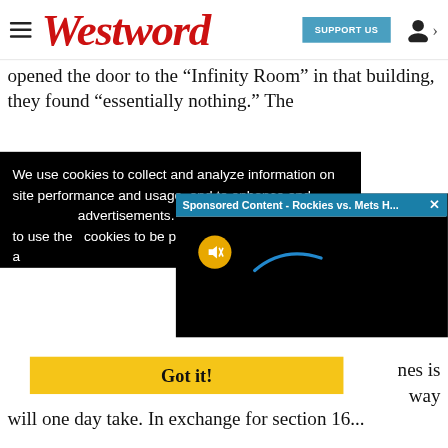Westword — SUPPORT US
opened the door to the "Infinity Room" in that building, they found "essentially nothing." The
We use cookies to collect and analyze information on site performance and usage, and to enhance and advertisements. By continuing to use the cookies to be placed our cookies policy a
[Figure (screenshot): Sponsored Content - Rockies vs. Mets H... popup bar with close X button and video player with mute button (yellow circle with speaker icon)]
Got it!
nes is way will one day take. In exchange for section 16...